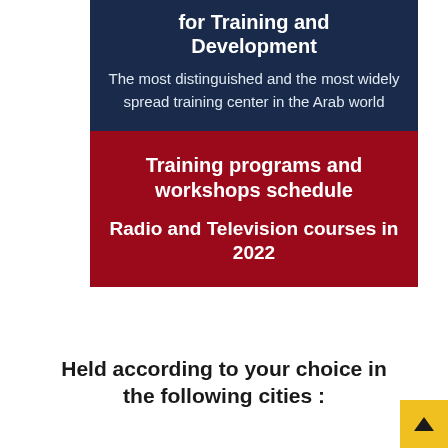for Training and Development
The most distinguished and the most widely spread training center in the Arab world
Training programs and workshops schedule
Radio and Television courses in 2022
Held according to your choice in the following cities :